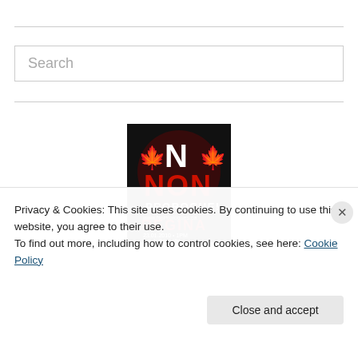Search
[Figure (illustration): Black poster with large white 'N' flanked by red Canadian maple leaves, red 'NON' text below, then 'PROROGUE!' in white, 'www.NoProrogues.ca' in white small text, 'REGINA' in large red text, '23.01.2010 • 1PM' in white, 'Scarth Street Mall' in white small text]
Privacy & Cookies: This site uses cookies. By continuing to use this website, you agree to their use.
To find out more, including how to control cookies, see here: Cookie Policy
Close and accept